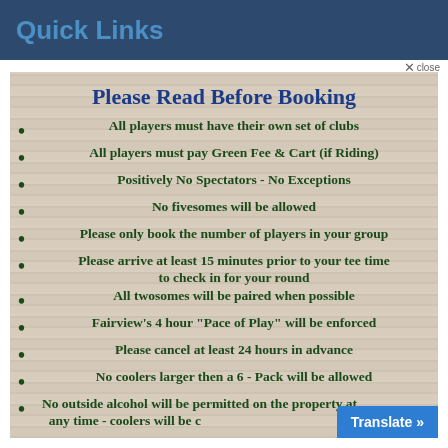Quick Links
Please Read Before Booking
All players must have their own set of clubs
All players must pay Green Fee & Cart (if Riding)
Positively No Spectators - No Exceptions
No fivesomes will be allowed
Please only book the number of players in your group
Please arrive at least 15 minutes prior to your tee time to check in for your round
All twosomes will be paired when possible
Fairview's 4 hour "Pace of Play" will be enforced
Please cancel at least 24 hours in advance
No coolers larger then a 6 - Pack will be allowed
No outside alcohol will be permitted on the property at any time - coolers will be c…